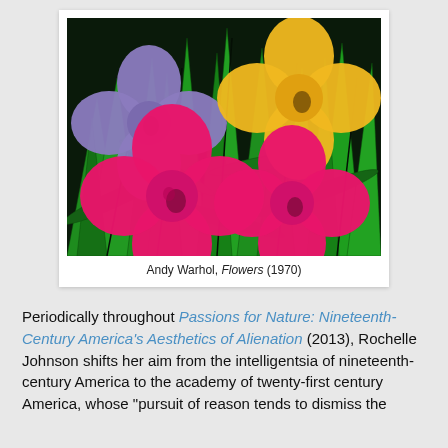[Figure (illustration): Andy Warhol's Flowers (1970) — silkscreen print showing four large flowers (one purple, one yellow/orange, two magenta/pink) against a vivid green foliage background in pop art style.]
Andy Warhol, Flowers (1970)
Periodically throughout Passions for Nature: Nineteenth-Century America's Aesthetics of Alienation (2013), Rochelle Johnson shifts her aim from the intelligentsia of nineteenth-century America to the academy of twenty-first century America, whose "pursuit of reason tends to dismiss the